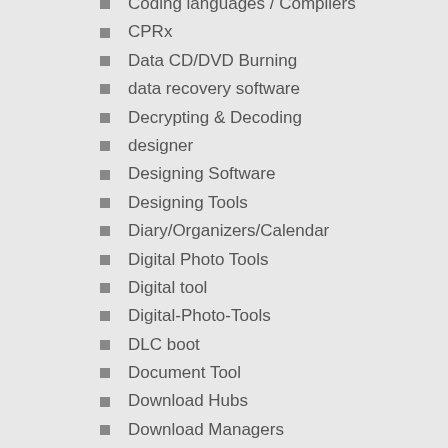Coding languages / Compilers
CPRx
Data CD/DVD Burning
data recovery software
Decrypting & Decoding
designer
Designing Software
Designing Tools
Diary/Organizers/Calendar
Digital Photo Tools
Digital tool
Digital-Photo-Tools
DLC boot
Document Tool
Download Hubs
Download Managers